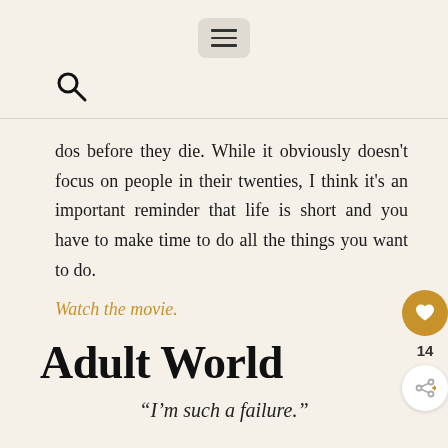[Figure (other): Hamburger menu button icon (three horizontal lines) in a rounded rectangle]
[Figure (other): Search (magnifying glass) icon]
dos before they die. While it obviously doesn't focus on people in their twenties, I think it's an important reminder that life is short and you have to make time to do all the things you want to do.
Watch the movie.
Adult World
“I’m such a failure.”